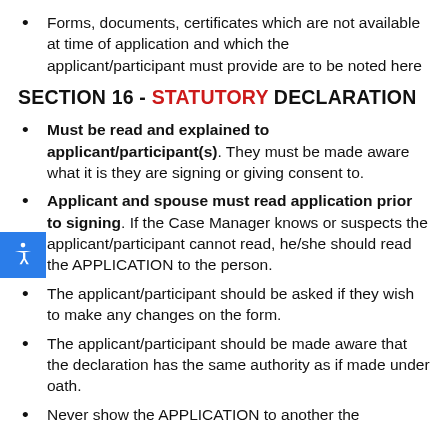Forms, documents, certificates which are not available at time of application and which the applicant/participant must provide are to be noted here
SECTION 16 - STATUTORY DECLARATION
Must be read and explained to applicant/participant(s). They must be made aware what it is they are signing or giving consent to.
Applicant and spouse must read application prior to signing. If the Case Manager knows or suspects the applicant/participant cannot read, he/she should read the APPLICATION to the person.
The applicant/participant should be asked if they wish to make any changes on the form.
The applicant/participant should be made aware that the declaration has the same authority as if made under oath.
Never show the APPLICATION to another the